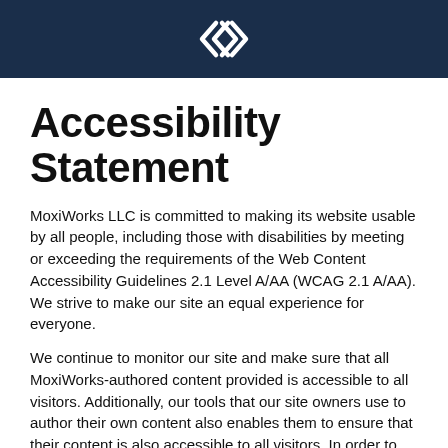[Figure (logo): MoxiWorks logo: a geometric diamond/arrow icon in white on dark navy background]
Accessibility Statement
MoxiWorks LLC is committed to making its website usable by all people, including those with disabilities by meeting or exceeding the requirements of the Web Content Accessibility Guidelines 2.1 Level A/AA (WCAG 2.1 A/AA). We strive to make our site an equal experience for everyone.
We continue to monitor our site and make sure that all MoxiWorks-authored content provided is accessible to all visitors. Additionally, our tools that our site owners use to author their own content also enables them to ensure that their content is also accessible to all visitors. In order to help us in this process, we have engaged The Bureau of Internet Accessibility, an accessibility consulting company, to